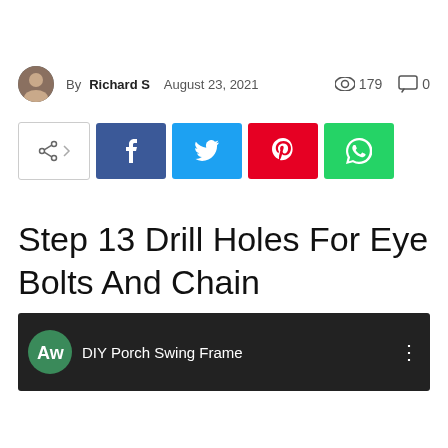By Richard S   August 23, 2021   👁 179   💬 0
[Figure (screenshot): Social share buttons: share icon, Facebook (blue), Twitter (cyan), Pinterest (red), WhatsApp (green)]
Step 13 Drill Holes For Eye Bolts And Chain
[Figure (screenshot): Video thumbnail showing DIY Porch Swing Frame with AW logo and outdoor scene]